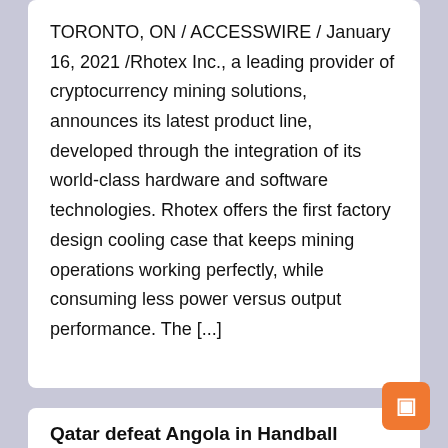TORONTO, ON / ACCESSWIRE / January 16, 2021 /Rhotex Inc., a leading provider of cryptocurrency mining solutions, announces its latest product line, developed through the integration of its world-class hardware and software technologies. Rhotex offers the first factory design cooling case that keeps mining operations working perfectly, while consuming less power versus output performance. The [...]
Qatar defeat Angola in Handball